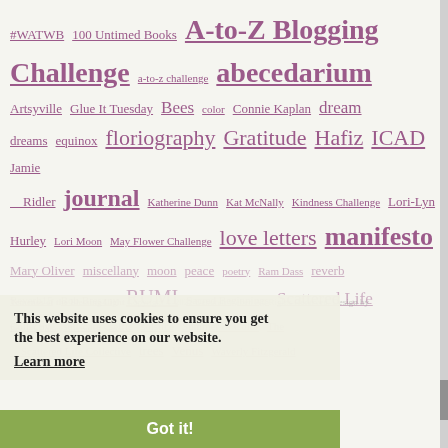#WATWB 100 Untimed Books A-to-Z Blogging Challenge a-to-z challenge abecedarium Artsyville Glue It Tuesday Bees color Connie Kaplan dream dreams equinox floriography Gratitude Hafiz ICAD Jamie Ridler journal Katherine Dunn Kat McNally Kindness Challenge Lori-Lyn Hurley Lori Moon May Flower Challenge love letters manifesto Mary Oliver miscellany moon peace poetry Ram Dass reverb Reverb15 Rob Breszny RUMI Sacred Beginnings Scattered Life Collective self-care selfie solstice Summer of Color The Scattered Life Collective trees Venus Waverly Fitzgerald
This website uses cookies to ensure you get the best experience on our website. Learn more
Got it!
Temenos of the Blessing Light Copyright © 2022 Deborah Weber. All Rights Reserved. Design by WebsitesinWP.com Privacy Policy | Terms of Service